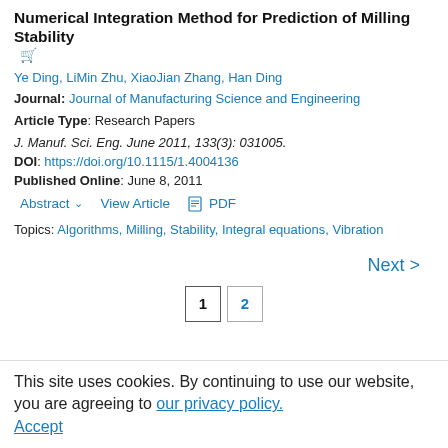Numerical Integration Method for Prediction of Milling Stability
Ye Ding, LiMin Zhu, XiaoJian Zhang, Han Ding
Journal: Journal of Manufacturing Science and Engineering
Article Type: Research Papers
J. Manuf. Sci. Eng. June 2011, 133(3): 031005.
DOI: https://doi.org/10.1115/1.4004136
Published Online: June 8, 2011
Abstract  View Article  PDF
Topics: Algorithms, Milling, Stability, Integral equations, Vibration
Next >
1  2
This site uses cookies. By continuing to use our website, you are agreeing to our privacy policy. Accept